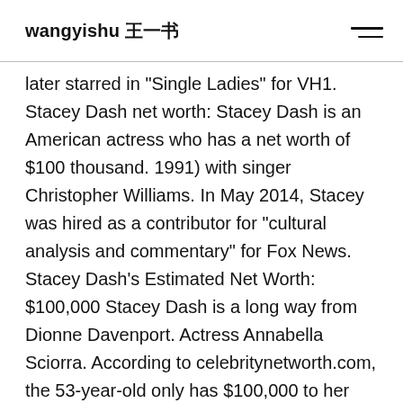wangyishu 王一书
later starred in "Single Ladies" for VH1. Stacey Dash net worth: Stacey Dash is an American actress who has a net worth of $100 thousand. 1991) with singer Christopher Williams. In May 2014, Stacey was hired as a contributor for "cultural analysis and commentary" for Fox News. Stacey Dash's Estimated Net Worth: $100,000 Stacey Dash is a long way from Dionne Davenport. Actress Annabella Sciorra. According to celebritynetworth.com, the 53-year-old only has $100,000 to her name. Stacey Dash has a net worth of $8.5 million as of 2019. In 2008, she appeared in three small